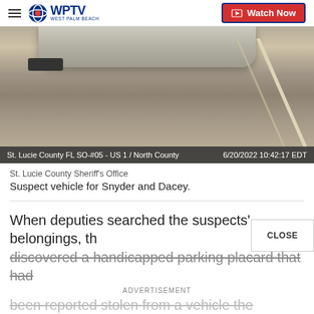WPTV West Palm Beach | Watch Now
[Figure (photo): Rear bumper of a silver/beige car in a parking lot, with asphalt surface and white painted parking line visible. Timestamp overlay reads: St. Lucie County FL SO-#05 - US 1 / North County | 6/20/2022 10:42:17 EDT]
St. Lucie County Sheriff's Office
Suspect vehicle for Snyder and Dacey.
When deputies searched the suspects' belongings, they discovered a handicapped parking placard that had been reported stolen from a vehicle the previous night;